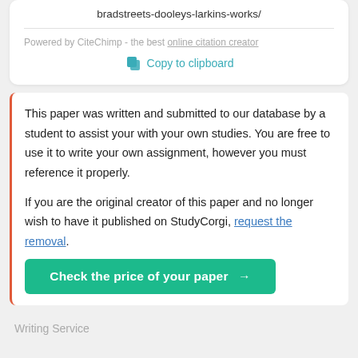bradstreets-dooleys-larkins-works/
Powered by CiteChimp - the best online citation creator
Copy to clipboard
This paper was written and submitted to our database by a student to assist your with your own studies. You are free to use it to write your own assignment, however you must reference it properly.
If you are the original creator of this paper and no longer wish to have it published on StudyCorgi, request the removal.
Check the price of your paper →
Writing Service